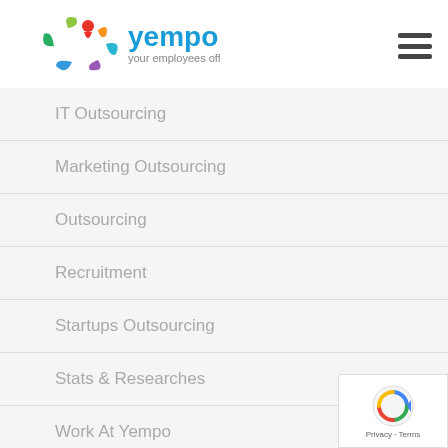[Figure (logo): Yempo logo - colorful leaf/people icon with text 'yempo your employees offshore']
IT Outsourcing
Marketing Outsourcing
Outsourcing
Recruitment
Startups Outsourcing
Stats & Researches
Work At Yempo